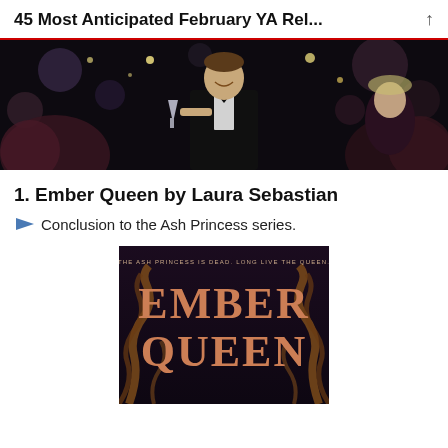45 Most Anticipated February YA Rel...
[Figure (photo): A man in a tuxedo holding up a champagne glass at a party, smiling toward camera. Party scene with bokeh lights in background.]
1. Ember Queen by Laura Sebastian
Conclusion to the Ash Princess series.
[Figure (photo): Book cover of Ember Queen showing title text 'EMBER QUEEN' in large copper/rose letters on a dark background, with the tagline 'THE ASH PRINCESS IS DEAD. LONG LIVE THE QUEEN.' and tentacle-like decorative elements.]